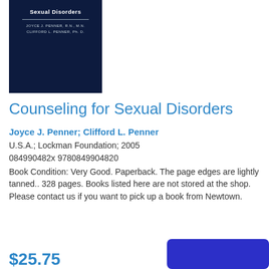[Figure (photo): Book cover of 'Counseling for Sexual Disorders' by Joyce J. Penner R.N., M.N. and Clifford L. Penner Ph.D. — dark navy background with white title text and a horizontal rule.]
Counseling for Sexual Disorders
Joyce J. Penner; Clifford L. Penner
U.S.A.; Lockman Foundation; 2005
084990482x 9780849904820
Book Condition: Very Good. Paperback. The page edges are lightly tanned.. 328 pages. Books listed here are not stored at the shop. Please contact us if you want to pick up a book from Newtown.
$25.75
[Figure (other): Blue rounded rectangle button at bottom right.]